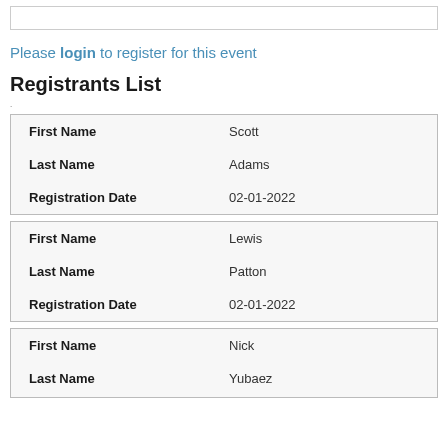Please login to register for this event
Registrants List
| Field | Value |
| --- | --- |
| First Name | Scott |
| Last Name | Adams |
| Registration Date | 02-01-2022 |
| Field | Value |
| --- | --- |
| First Name | Lewis |
| Last Name | Patton |
| Registration Date | 02-01-2022 |
| Field | Value |
| --- | --- |
| First Name | Nick |
| Last Name | Yubaez |